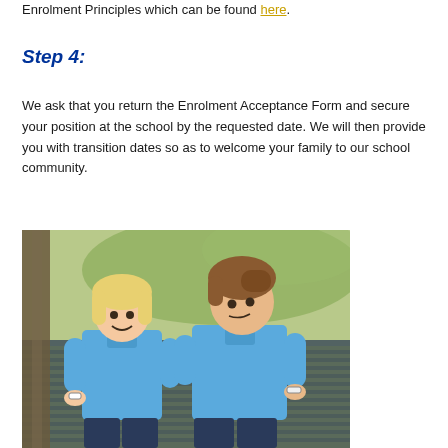Enrolment Principles which can be found here.
Step 4:
We ask that you return the Enrolment Acceptance Form and secure your position at the school by the requested date. We will then provide you with transition dates so as to welcome your family to our school community.
[Figure (photo): Two primary school children in blue uniforms sitting together on what appears to be an outdoor bench or deck, smiling and looking at each other.]